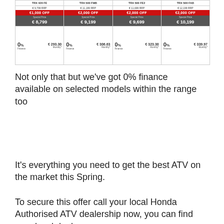[Figure (infographic): Four Honda ATV product cards side by side showing model names (TRX 420 FE, TRX 500 FMB, TRX 500 FE2, TRX 500 FAB), RRP prices (€8,799, €11,199, €11,699, €12,199), discount badges (€1,000 OFF, €2,000 OFF, €2,000 OFF, €2,000 OFF), special prices (€8,799, €9,199, €9,699, €10,199), and 0% finance monthly payments (€293.30, €306.63, €323.30, €339.97)]
Not only that but we've got 0% finance available on selected models within the range too
It's everything you need to get the best ATV on the market this Spring.
To secure this offer call your local Honda Authorised ATV dealership now, you can find your local dealer